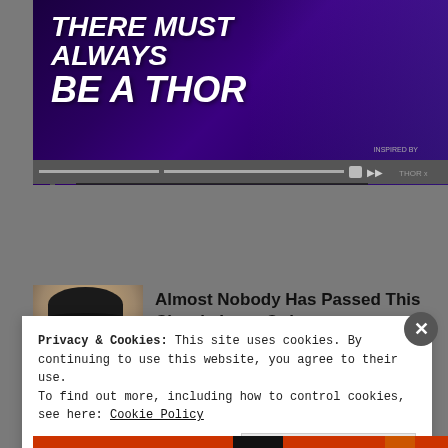[Figure (screenshot): Advertisement banner for a Marvel game featuring Thor character with text 'THERE MUST ALWAYS BE A THOR' on a dark purple background]
iPhone owners are obsessed with this Marvel game
Almost Nobody Has Passed This Classic Logo Quiz
Privacy & Cookies: This site uses cookies. By continuing to use this website, you agree to their use.
To find out more, including how to control cookies, see here: Cookie Policy
Close and accept